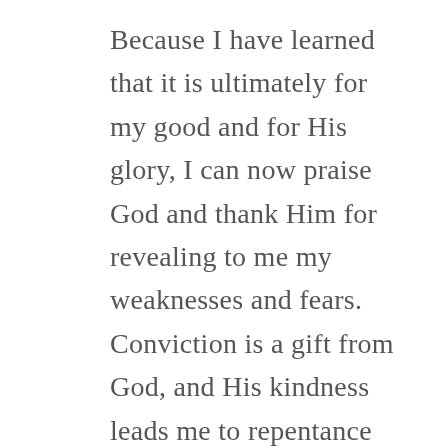Because I have learned that it is ultimately for my good and for His glory, I can now praise God and thank Him for revealing to me my weaknesses and fears. Conviction is a gift from God, and His kindness leads me to repentance (Romans 2:4).
Therefore, it is through His power and by His grace that I see my need to set aside pride and to become more willing to need others, as He has designed. May the fear of